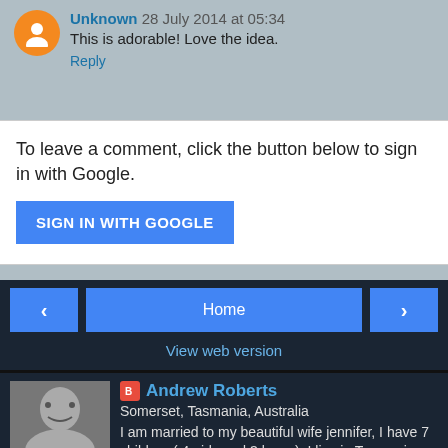Unknown 28 July 2014 at 05:34
This is adorable! Love the idea.
Reply
To leave a comment, click the button below to sign in with Google.
SIGN IN WITH GOOGLE
Home
View web version
Andrew Roberts
Somerset, Tasmania, Australia
I am married to my beautiful wife jennifer, I have 7 children ( 4 girls and 3 boys ). I live in Tasmania,